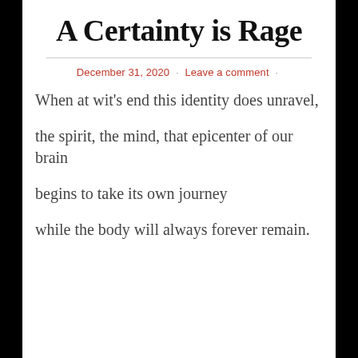A Certainty is Rage
December 31, 2020 · Leave a comment ·
When at wit's end this identity does unravel,
the spirit, the mind, that epicenter of our brain
begins to take its own journey
while the body will always forever remain.